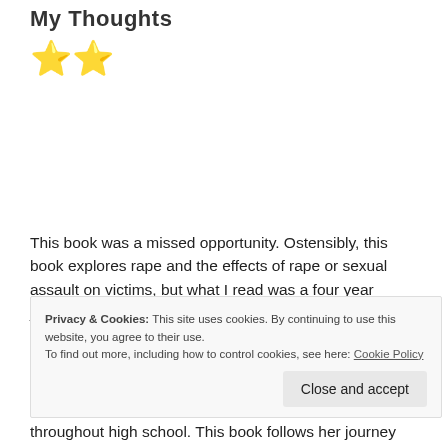My Thoughts
[Figure (illustration): Two gold/yellow star emoji icons representing a 2-star rating]
This book was a missed opportunity. Ostensibly, this book explores rape and the effects of rape or sexual assault on victims, but what I read was a four year journey of self-destruction and recklessness on the part of the main character. For me, it was 300+ pages of not much
Privacy & Cookies: This site uses cookies. By continuing to use this website, you agree to their use.
To find out more, including how to control cookies, see here: Cookie Policy
throughout high school. This book follows her journey from